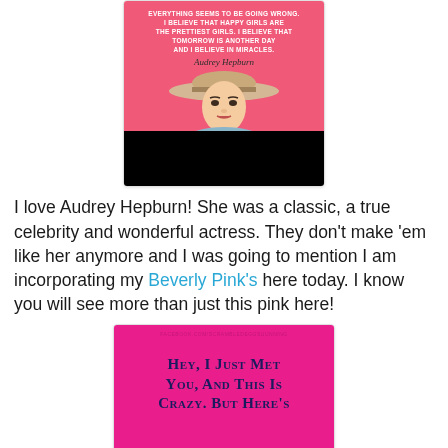[Figure (illustration): Audrey Hepburn quote graphic on pink background with white bold text reading the quote, her cursive signature, and a photo of her in a wide-brimmed hat, below which is a black rectangle.]
I love Audrey Hepburn! She was a classic, a true celebrity and wonderful actress. They don't make 'em like her anymore and I was going to mention I am incorporating my Beverly Pink's here today. I know you will see more than just this pink here!
[Figure (illustration): Magenta/hot pink graphic with Facebook URL at top and large small-caps text reading 'Hey, I just met you, and this is Crazy. But here's']